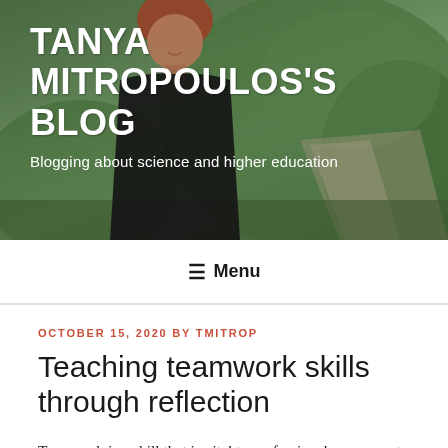[Figure (photo): Blog header banner with a woman (Tanya Mitropoulos) standing outdoors with greenery/bushes in the background]
TANYA MITROPOULOS'S BLOG
Blogging about science and higher education
≡ Menu
OCTOBER 15, 2020 BY TMITROP
Teaching teamwork skills through reflection
Teamwork is a skill that is vital to professional success yet is not taught in schools. Courses often utilize teamwork with the intent of allowing students to become better at it, but it is never explicitly taught. In previous blogs, I have aired the exact same grievances regarding giving presentations. I am embarrassed that I